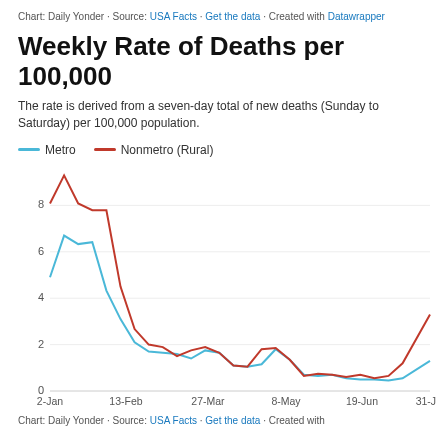Chart: Daily Yonder · Source: USA Facts · Get the data · Created with Datawrapper
Weekly Rate of Deaths per 100,000
The rate is derived from a seven-day total of new deaths (Sunday to Saturday) per 100,000 population.
[Figure (line-chart): Weekly Rate of Deaths per 100,000]
Chart: Daily Yonder · Source: USA Facts · Get the data · Created with